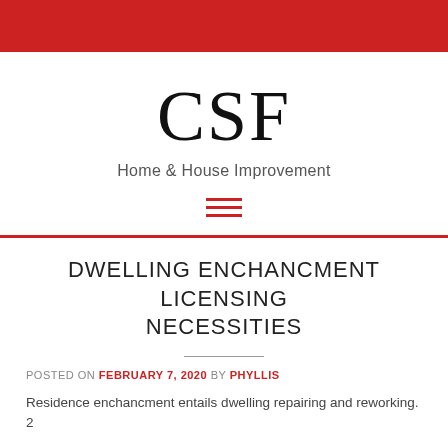CSF
Home & House Improvement
[Figure (other): Hamburger menu icon with three horizontal red lines]
DWELLING ENCHANCMENT LICENSING NECESSITIES
POSTED ON FEBRUARY 7, 2020 BY PHYLLIS
Residence enchancment entails dwelling repairing and reworking. 2